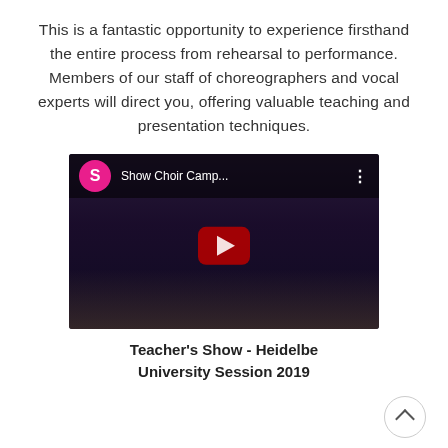This is a fantastic opportunity to experience firsthand the entire process from rehearsal to performance. Members of our staff of choreographers and vocal experts will direct you, offering valuable teaching and presentation techniques.
[Figure (screenshot): YouTube video player screenshot showing 'Show Choir Camp...' title with a pink avatar circle with 'S', a red play button on a dark concert stage background, and a three-dot menu.]
Teacher's Show - Heidelberg University Session 2019